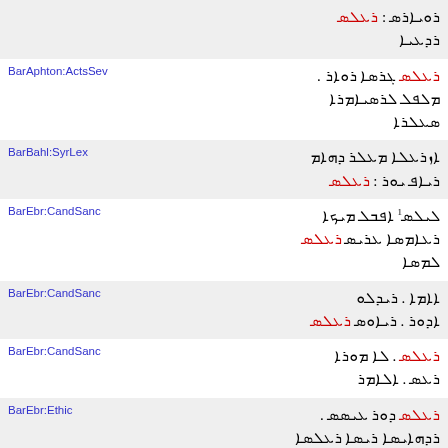| Reference | Text |
| --- | --- |
|  | Syriac script text row 1 |
| BarAphton:ActsSev | Syriac script text row 2 |
| BarBahl:SyrLex | Syriac script text row 3 |
| BarEbr:CandSanc | Syriac script text row 4 |
| BarEbr:CandSanc | Syriac script text row 5 |
| BarEbr:CandSanc | Syriac script text row 6 |
| BarEbr:Ethic | Syriac script text row 7 |
| BarKepha:CelebNat | Syriac script text row 8 |